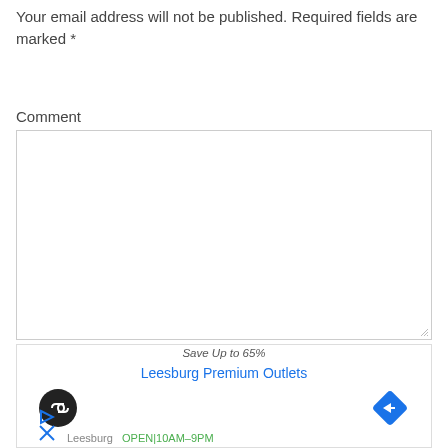Your email address will not be published. Required fields are marked *
Comment
[Figure (screenshot): Empty comment textarea with resize handle in bottom-right corner]
[Figure (screenshot): Advertisement banner showing 'Save Up to 65%', 'Leesburg Premium Outlets' link in blue, a circular dark icon with infinity/link symbol, a blue diamond navigation icon, play button icon, X icon, and 'Leesburg  OPEN|10AM-9PM' text at bottom]